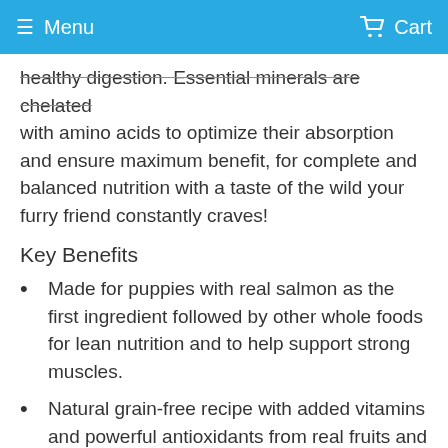Menu  Cart
healthy digestion. Essential minerals are chelated with amino acids to optimize their absorption and ensure maximum benefit, for complete and balanced nutrition with a taste of the wild your furry friend constantly craves!
Key Benefits
Made for puppies with real salmon as the first ingredient followed by other whole foods for lean nutrition and to help support strong muscles.
Natural grain-free recipe with added vitamins and powerful antioxidants from real fruits and vegetables support overall health, while omega-3 and omega-6 fatty acids support healthy skin and coat.